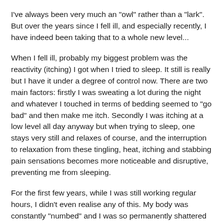I've always been very much an "owl" rather than a "lark". But over the years since I fell ill, and especially recently, I have indeed been taking that to a whole new level...
When I fell ill, probably my biggest problem was the reactivity (itching) I got when I tried to sleep. It still is really but I have it under a degree of control now. There are two main factors: firstly I was sweating a lot during the night and whatever I touched in terms of bedding seemed to "go bad" and then make me itch. Secondly I was itching at a low level all day anyway but when trying to sleep, one stays very still and relaxes of course, and the interruption to relaxation from these tingling, heat, itching and stabbing pain sensations becomes more noticeable and disruptive, preventing me from sleeping.
For the first few years, while I was still working regular hours, I didn't even realise any of this. My body was constantly "numbed" and I was so permanently shattered and exhausted that when my head hit the pillow, I fell asleep immediately anyway despite the itching - but slept for 10-14 hours every